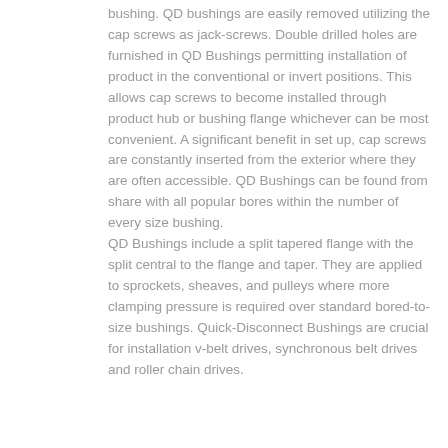bushing. QD bushings are easily removed utilizing the cap screws as jack-screws. Double drilled holes are furnished in QD Bushings permitting installation of product in the conventional or invert positions. This allows cap screws to become installed through product hub or bushing flange whichever can be most convenient. A significant benefit in set up, cap screws are constantly inserted from the exterior where they are often accessible. QD Bushings can be found from share with all popular bores within the number of every size bushing. QD Bushings include a split tapered flange with the split central to the flange and taper. They are applied to sprockets, sheaves, and pulleys where more clamping pressure is required over standard bored-to-size bushings. Quick-Disconnect Bushings are crucial for installation v-belt drives, synchronous belt drives and roller chain drives.